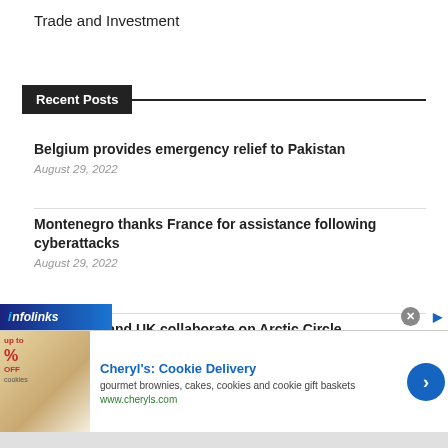Trade and Investment
Recent Posts
Belgium provides emergency relief to Pakistan
August 29, 2022
Montenegro thanks France for assistance following cyberattacks
August 29, 2022
Greenland and UK collaborate on Arctic Circle
August 29, 2022
[Figure (screenshot): Infolinks advertisement banner for Cheryl's Cookie Delivery showing cookie/brownie image, brand name, description 'gourmet brownies, cakes, cookies and cookie gift baskets', and URL www.cheryls.com]